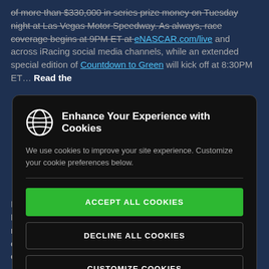of more than $330,000 in series prize money on Tuesday night at Las Vegas Motor Speedway. As always, race coverage begins at 9PM ET at eNASCAR.com/live and across iRacing social media channels, while an extended special edition of Countdown to Green will kick off at 8:30PM ET... Read the
[Figure (screenshot): Cookie consent modal dialog with globe icon, title 'Enhance Your Experience with Cookies', body text, and three buttons: ACCEPT ALL COOKIES (green), DECLINE ALL COOKIES, CUSTOMIZE COOKIES]
Images via Justin Melillo In his first race driving for Clint Bowyer Racing, Femi Olatunbosun survived not only numerous cautions, but also an intense green-white-checkered charge to the finish to earn his first career eNASCAR Coca-Cola iRacing...